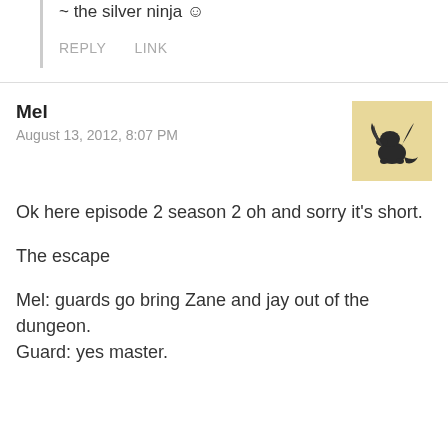~ the silver ninja ☺
REPLY   LINK
Mel
August 13, 2012, 8:07 PM
[Figure (illustration): Small square avatar image of a dark dragon creature sitting on a beige/tan background]
Ok here episode 2 season 2 oh and sorry it's short.

The escape

Mel: guards go bring Zane and jay out of the dungeon.
Guard: yes master.